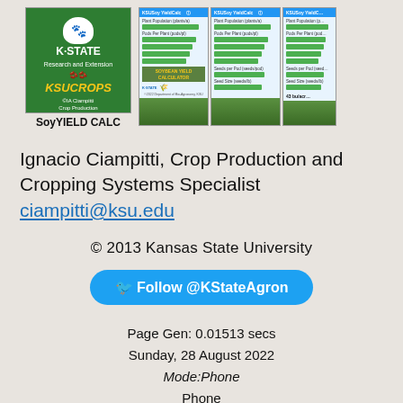[Figure (screenshot): K-State Research and Extension KSUCROPS SoyYIELD CALC app icon and app screenshots showing KSUSoy YieldCalc interface]
Ignacio Ciampitti, Crop Production and Cropping Systems Specialist
ciampitti@ksu.edu
© 2013 Kansas State University
Follow @KStateAgron
Page Gen: 0.01513 secs
Sunday, 28 August 2022
Mode:Phone
Phone